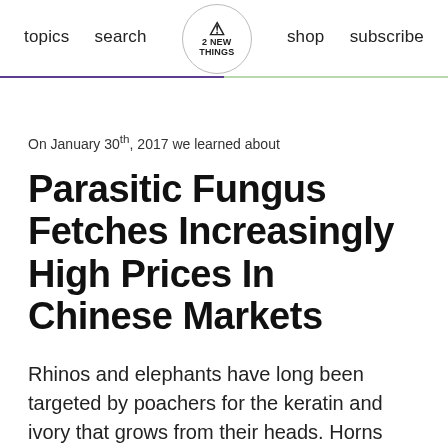topics  search  ! 2 NEW THINGS  shop  subscribe
On January 30th, 2017 we learned about
Parasitic Fungus Fetches Increasingly High Prices In Chinese Markets
Rhinos and elephants have long been targeted by poachers for the keratin and ivory that grows from their heads. Horns and tusks are ground up and sold for imagined medicinal value, primarily in